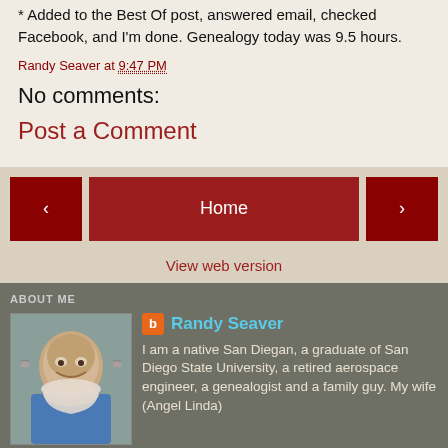* Added to the Best Of post, answered email, checked Facebook, and I'm done. Genealogy today was 9.5 hours.
Randy Seaver at 9:47 PM
No comments:
Post a Comment
[Figure (screenshot): Navigation bar with back arrow button, Home button, and forward arrow button on a tan/beige background, followed by View web version link]
ABOUT ME
[Figure (photo): Profile photo of Randy Seaver, an older man with white beard and glasses]
Randy Seaver
I am a native San Diegan, a graduate of San Diego State University, a retired aerospace engineer, a genealogist and a family guy. My wife (Angel Linda) and I have two lovely daughters, and five darling grandchildren. We love to visit them and have them visit us. Angel Linda and I love to